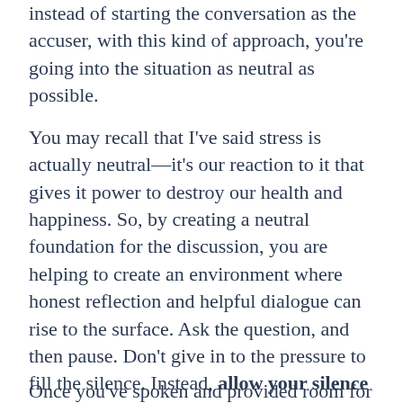instead of starting the conversation as the accuser, with this kind of approach, you're going into the situation as neutral as possible.
You may recall that I've said stress is actually neutral—it's our reaction to it that gives it power to destroy our health and happiness. So, by creating a neutral foundation for the discussion, you are helping to create an environment where honest reflection and helpful dialogue can rise to the surface. Ask the question, and then pause. Don't give in to the pressure to fill the silence. Instead, allow your silence to make room for the other party to think, reflect and answer.
Once you've spoken and provided room for the